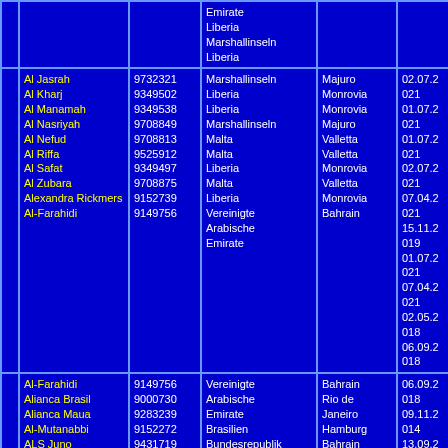|  | Schiffsname | IMO-Nr. | Flagge | Heimathafen | Datum |
| --- | --- | --- | --- | --- | --- |
|  |  |  | Emirate
Liberia
Marshallinseln
Liberia |  |  |
|  | Al Jasrah
Al Kharj
Al Manamah
Al Nasriyah
Al Nefud
Al Riffa
Al Safat
Al Zubara
Alexandra Rickmers
Al-Farahidi | 9732321
9349502
9349538
9708849
9708813
9525912
9349497
9708875
9152739
9149756 | Marshallinseln
Liberia
Liberia
Marshallinseln
Malta
Malta
Liberia
Malta
Liberia
Vereinigte Arabische Emirate | Majuro
Monrovia
Monrovia
Majuro
Valletta
Valletta
Monrovia
Valletta
Monrovia
Bahrain | 02.07.2021
01.07.2021
01.07.2021
02.07.2021
07.04.2021
15.11.2019
01.07.2021
07.04.2021
02.05.2018
06.09.2018 |
|  | Al-Farahidi
Alianca Brasil
Alianca Maua
Al-Mutanabbi
ALS Juno
Al-Sabahia
Alula
Amanda
America Express
Andre Rickmers | 9149756
9000730
9283239
9152272
9431719
9154529
9525883
9217565
9326433
9152789 | Vereinigte Arabische Emirate
Brasilien
Bundesrepublik Deutschland
Bahrain
Singapur
Kuwait
Malta
Bundesrepublik Deutschland
Singapur
Bundesrepublik Deutschland | Bahrain
Rio de Janeiro
Hamburg
Bahrain
Singapore
Kuwait
Valletta
Hamburg
Singapore
Hamburg | 06.09.2018
09.11.2014
13.09.2021
13.10.2018
10.09.2020
13.10.2018
15.11.2019
07.12.2020
05.04.2012
02.02.2020 |
|  | Ane... | 9349370 | Z... | Li... | 01.07.2021 |